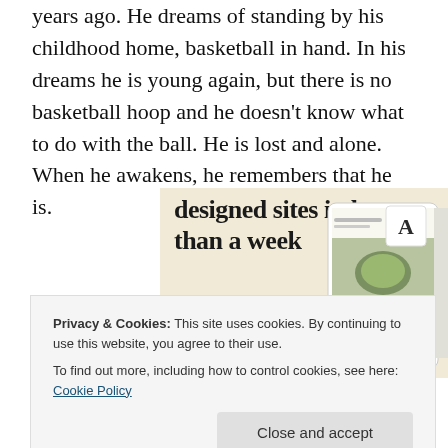years ago. He dreams of standing by his childhood home, basketball in hand. In his dreams he is young again, but there is no basketball hoop and he doesn't know what to do with the ball. He is lost and alone. When he awakens, he remembers that he is.
[Figure (screenshot): Advertisement banner with beige background showing text 'designed sites in less than a week', a green 'Explore options' button, and a partial screenshot of a website design tool with food imagery and an 'A' logo card.]
Privacy & Cookies: This site uses cookies. By continuing to use this website, you agree to their use.
To find out more, including how to control cookies, see here: Cookie Policy
Close and accept